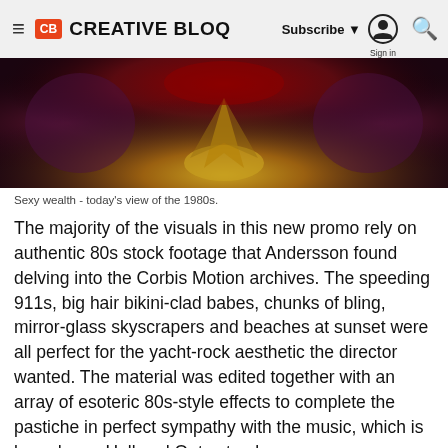Creative Bloq | Subscribe | Sign in
[Figure (photo): Ornate golden and dark symmetrical image suggesting 1980s aesthetic with rich colors including gold, crimson, and deep purples]
Sexy wealth - today's view of the 1980s.
The majority of the visuals in this new promo rely on authentic 80s stock footage that Andersson found delving into the Corbis Motion archives. The speeding 911s, big hair bikini-clad babes, chunks of bling, mirror-glass skyscrapers and beaches at sunset were all perfect for the yacht-rock aesthetic the director wanted. The material was edited together with an array of esoteric 80s-style effects to complete the pastiche in perfect sympathy with the music, which is based on a Hall and Oates track.